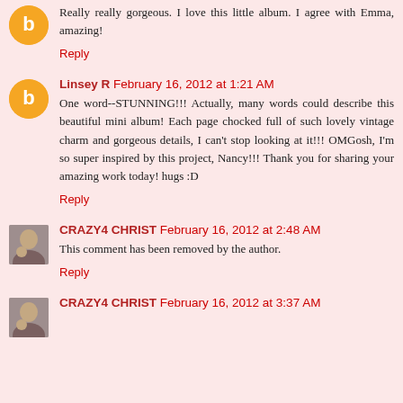Really really gorgeous. I love this little album. I agree with Emma, amazing!
Reply
Linsey R February 16, 2012 at 1:21 AM
One word--STUNNING!!! Actually, many words could describe this beautiful mini album! Each page chocked full of such lovely vintage charm and gorgeous details, I can't stop looking at it!!! OMGosh, I'm so super inspired by this project, Nancy!!! Thank you for sharing your amazing work today! hugs :D
Reply
CRAZY4 CHRIST February 16, 2012 at 2:48 AM
This comment has been removed by the author.
Reply
CRAZY4 CHRIST February 16, 2012 at 3:37 AM